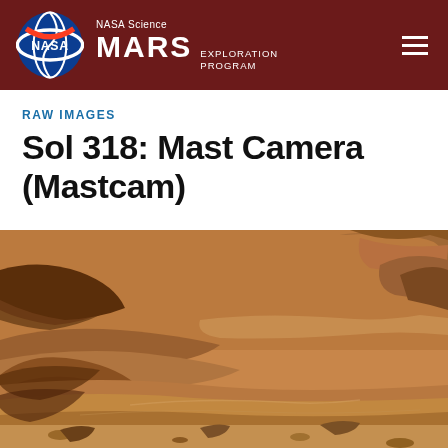NASA Science MARS EXPLORATION PROGRAM
RAW IMAGES
Sol 318: Mast Camera (Mastcam)
[Figure (photo): A Martian surface photograph taken by the Mast Camera (Mastcam) on Sol 318, showing rocky terrain with sandy reddish-brown soil, layered rock formations, and scattered boulders on the Martian landscape.]